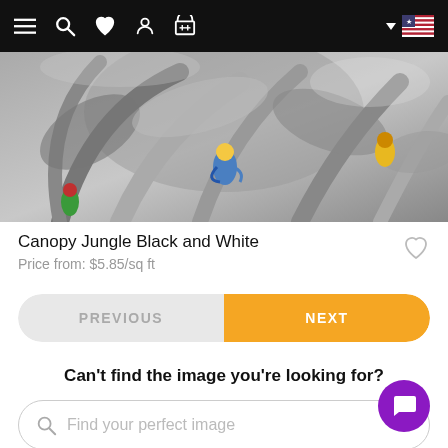[Figure (screenshot): Navigation bar with hamburger menu, search, heart/wishlist, account, cart icons and US flag dropdown on black background]
[Figure (photo): Canopy jungle black and white wallpaper product image showing tropical palm leaves and colorful parrots in greyscale]
Canopy Jungle Black and White
Price from: $5.85/sq ft
PREVIOUS
NEXT
Can't find the image you're looking for?
Find your perfect image